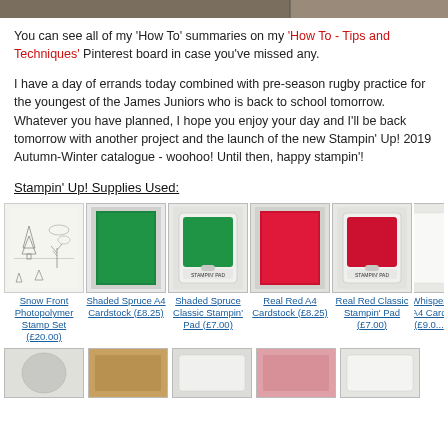[Figure (photo): Partial top strip photo showing wooden/craft background]
You can see all of my 'How To' summaries on my 'How To - Tips and Techniques' Pinterest board in case you've missed any.
I have a day of errands today combined with pre-season rugby practice for the youngest of the James Juniors who is back to school tomorrow. Whatever you have planned, I hope you enjoy your day and I'll be back tomorrow with another project and the launch of the new Stampin' Up! 2019 Autumn-Winter catalogue - woohoo! Until then, happy stampin'!
Stampin' Up! Supplies Used:
[Figure (photo): Snow Front Photopolymer Stamp Set product image]
Snow Front Photopolymer Stamp Set (£20.00)
[Figure (photo): Shaded Spruce A4 Cardstock product image]
Shaded Spruce A4 Cardstock (£8.25)
[Figure (photo): Shaded Spruce Classic Stampin' Pad product image]
Shaded Spruce Classic Stampin' Pad (£7.00)
[Figure (photo): Real Red A4 Cardstock product image]
Real Red A4 Cardstock (£8.25)
[Figure (photo): Real Red Classic Stampin' Pad product image]
Real Red Classic Stampin' Pad (£7.00)
[Figure (photo): Whisper White A4 Cardstock product image (partially cut off)]
Whisper A4 Card (£9.0...)